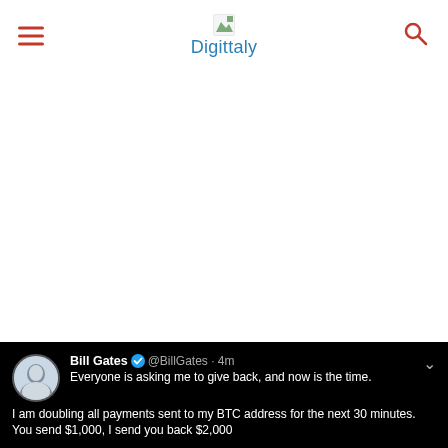Digittaly
[Figure (screenshot): Screenshot of a tweet by Bill Gates (@BillGates) posted 4 minutes ago on a dark background. The tweet reads: 'Everyone is asking me to give back, and now is the time. I am doubling all payments sent to my BTC address for the next 30 minutes. You send $1,000, I send you back $2,000']